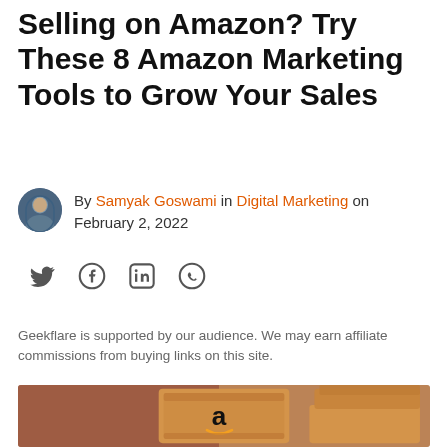Selling on Amazon? Try These 8 Amazon Marketing Tools to Grow Your Sales
By Samyak Goswami in Digital Marketing on February 2, 2022
[Figure (infographic): Social share icons: Twitter, Facebook, LinkedIn, WhatsApp]
Geekflare is supported by our audience. We may earn affiliate commissions from buying links on this site.
[Figure (photo): Person in red plaid shirt holding an Amazon-branded cardboard box, with stacked boxes in the background]